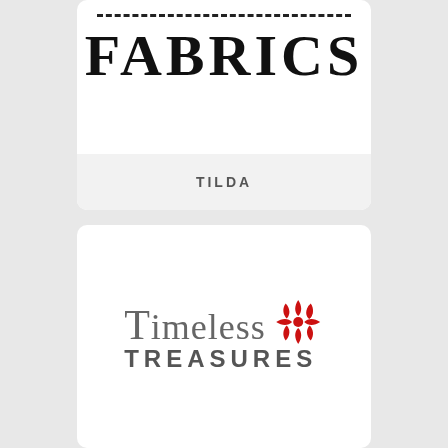[Figure (logo): Tilda Fabrics logo card: large serif bold text 'FABRICS' with dashed line above, and 'TILDA' label in grey bar at bottom, on white rounded card]
[Figure (logo): Timeless Treasures logo card: grey serif text 'Timeless' with red decorative snowflake/star graphic, below it 'TREASURES' in bold grey sans-serif uppercase, on white rounded card]